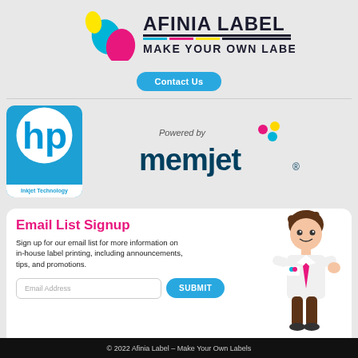[Figure (logo): Afinia Label logo with colorful ink drops and text 'AFINIA LABEL - MAKE YOUR OWN LABELS']
Contact Us
[Figure (logo): HP Inkjet Technology logo - blue rounded rectangle with HP circle logo and 'Inkjet Technology' text]
[Figure (logo): Powered by memjet logo with colorful dots]
Email List Signup
Sign up for our email list for more information on in-house label printing, including announcements, tips, and promotions.
[Figure (illustration): Cartoon business person character with pink tie]
Email Address
SUBMIT
© 2022 Afinia Label – Make Your Own Labels